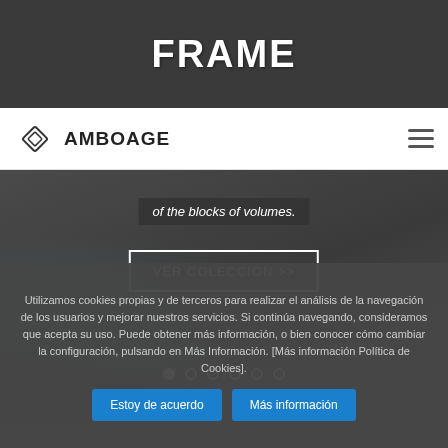FRAME
[Figure (logo): Amboage logo with diamond/rhombus geometric mark and wordmark AMBOAGE]
[Figure (photo): Hero banner showing a modern interior kitchen/living space with dark cabinetry, blue vase decorations, and a toy car. Contains text 'of the blocks of volumes.' and a 'VER COLECCIÓN >>' button with carousel dots.]
Utilizamos cookies propias y de terceros para realizar el análisis de la navegación de los usuarios y mejorar nuestros servicios. Si continúa navegando, consideramos que acepta su uso. Puede obtener más información, o bien conocer cómo cambiar la configuración, pulsando en Más Información. [Más información Política de Cookies].
Estoy de acuerdo
Más información